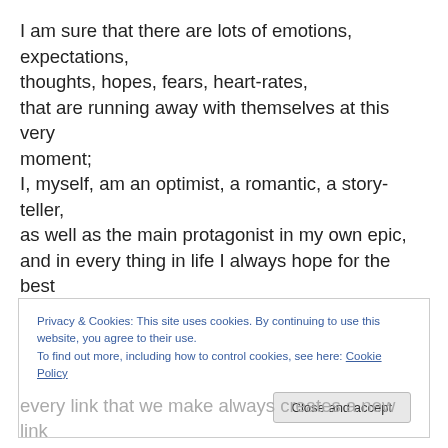I am sure that there are lots of emotions, expectations, thoughts, hopes, fears, heart-rates, that are running away with themselves at this very moment; I, myself, am an optimist, a romantic, a story-teller, as well as the main protagonist in my own epic, and in every thing in life I always hope for the best and for overwhelming happiness- so today, the reality of what is going to happen and what it means, could not be more potent.
Privacy & Cookies: This site uses cookies. By continuing to use this website, you agree to their use. To find out more, including how to control cookies, see here: Cookie Policy
Close and accept
every link that we make always creates a new link